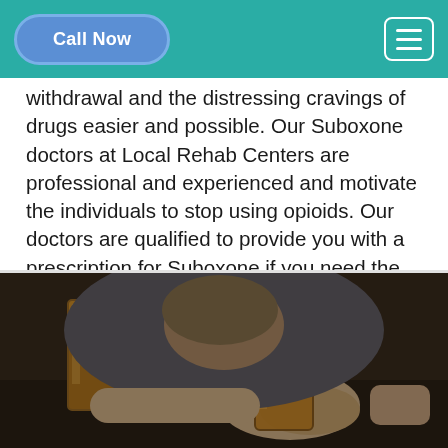Call Now | Menu
withdrawal and the distressing cravings of drugs easier and possible. Our Suboxone doctors at Local Rehab Centers are professional and experienced and motivate the individuals to stop using opioids. Our doctors are qualified to provide you with a prescription for Suboxone if you need the medication.
[Figure (photo): A person in a suit with head down on a table, hands holding glasses of whiskey/alcohol, depicting substance abuse and addiction.]